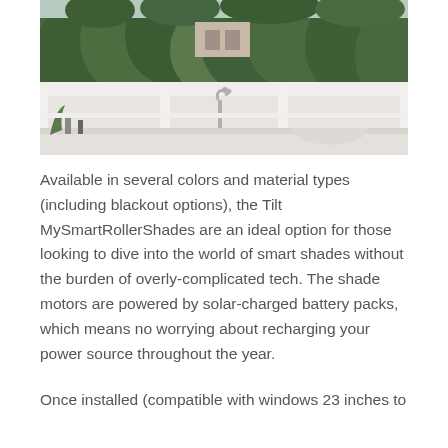[Figure (photo): Kitchen window view showing large white-framed windows overlooking dense green trees. A kitchen counter with a white bowl and faucet is visible below the windows.]
Available in several colors and material types (including blackout options), the Tilt MySmartRollerShades are an ideal option for those looking to dive into the world of smart shades without the burden of overly-complicated tech. The shade motors are powered by solar-charged battery packs, which means no worrying about recharging your power source throughout the year.
Once installed (compatible with windows 23 inches to